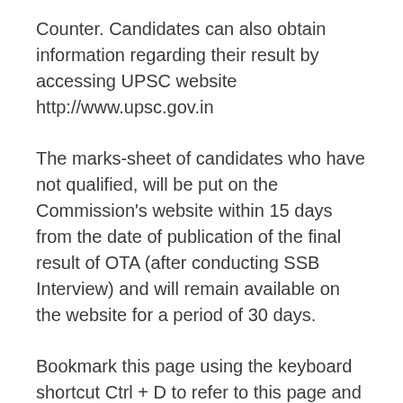Counter. Candidates can also obtain information regarding their result by accessing UPSC website http://www.upsc.gov.in
The marks-sheet of candidates who have not qualified, will be put on the Commission's website within 15 days from the date of publication of the final result of OTA (after conducting SSB Interview) and will remain available on the website for a period of 30 days.
Bookmark this page using the keyboard shortcut Ctrl + D to refer to this page and check your results and other exam-related updates. All the Best!